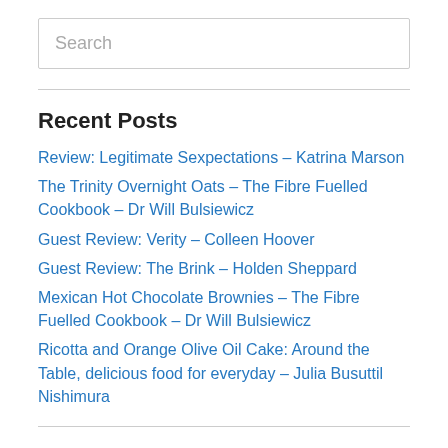Search
Recent Posts
Review: Legitimate Sexpectations – Katrina Marson
The Trinity Overnight Oats – The Fibre Fuelled Cookbook – Dr Will Bulsiewicz
Guest Review: Verity – Colleen Hoover
Guest Review: The Brink – Holden Sheppard
Mexican Hot Chocolate Brownies – The Fibre Fuelled Cookbook – Dr Will Bulsiewicz
Ricotta and Orange Olive Oil Cake: Around the Table, delicious food for everyday – Julia Busuttil Nishimura
Tags